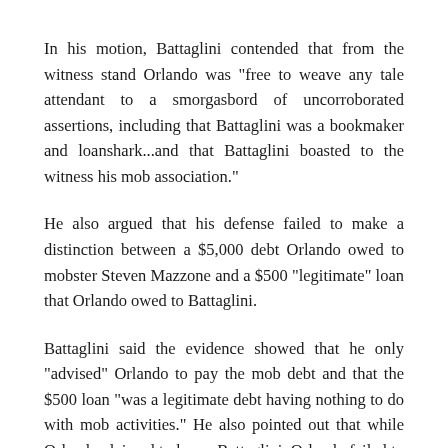In his motion, Battaglini contended that from the witness stand Orlando was "free to weave any tale attendant to a smorgasbord of uncorroborated assertions, including that Battaglini was a bookmaker and loanshark...and that Battaglini boasted to the witness his mob association."
He also argued that his defense failed to make a distinction between a $5,000 debt Orlando owed to mobster Steven Mazzone and a $500 "legitimate" loan that Orlando owed to Battaglini.
Battaglini said the evidence showed that he only "advised" Orlando to pay the mob debt and that the $500 loan "was a legitimate debt having nothing to do with mob activities." He also pointed out that while Orlando claimed to know Battaglini, Orlando failed to identify him on three different occasions while on the witness stand.
Just as detrimental to his defense, Battaglini said, was his